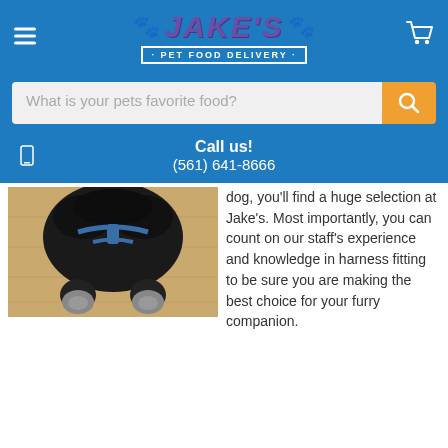[Figure (logo): Jake's Pet Food Delivery logo with paw prints and purple/orange text on blue background]
What is your pets favorite food?
Call us! (561) 641-8666
[Figure (photo): Black dog wearing blue harness and boots/socks, viewed from above on light wood floor]
dog, you'll find a huge selection at Jake's. Most importantly, you can count on our staff's experience and knowledge in harness fitting to be sure you are making the best choice for your furry companion.